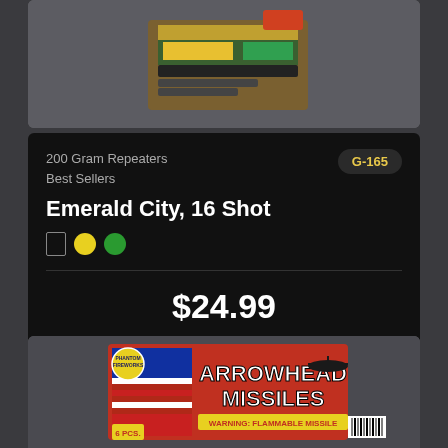[Figure (photo): Top portion of a fireworks product box, partially visible, on a dark gray background]
200 Gram Repeaters
Best Sellers
G-165
Emerald City, 16 Shot
$24.99
Add to Favorites
[Figure (photo): Arrowhead Missiles fireworks product packaging showing Phantom Fireworks branding, American flag imagery, helicopters, and text reading ARROWHEAD MISSILES 6 PCS WARNING FLAMMABLE MISSILE]